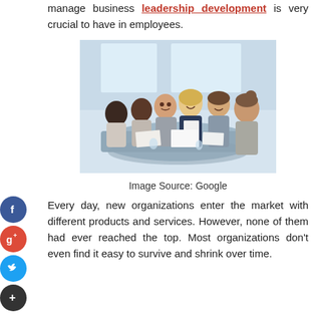manage business leadership development is very crucial to have in employees.
[Figure (photo): Group of business professionals sitting around a conference table in a meeting, smiling and reviewing documents.]
Image Source: Google
Every day, new organizations enter the market with different products and services. However, none of them had ever reached the top. Most organizations don't even find it easy to survive and shrink over time.